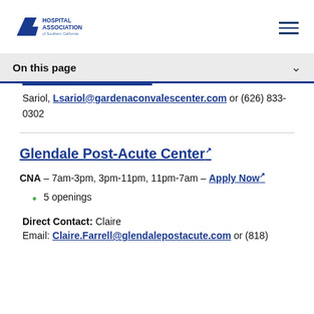[Figure (logo): Hospital Association of Southern California logo with stylized blue road/path icon and text]
On this page
Sariol, Lsariol@gardenaconvalescenter.com or (626) 833-0302
Glendale Post-Acute Center
CNA – 7am-3pm, 3pm-11pm, 11pm-7am – Apply Now
5 openings
Direct Contact: Claire
Email: Claire.Farrell@glendalepostacute.com or (818)